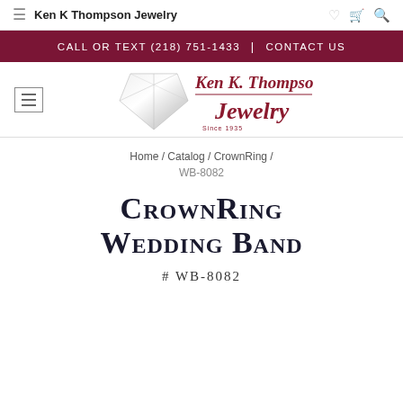Ken K Thompson Jewelry
CALL OR TEXT (218) 751-1433 | CONTACT US
[Figure (logo): Ken K. Thompson Jewelry logo with diamond illustration, script text 'Ken K. Thompson Jewelry Since 1935']
Home / Catalog / CrownRing / WB-8082
CrownRing Wedding Band
# WB-8082